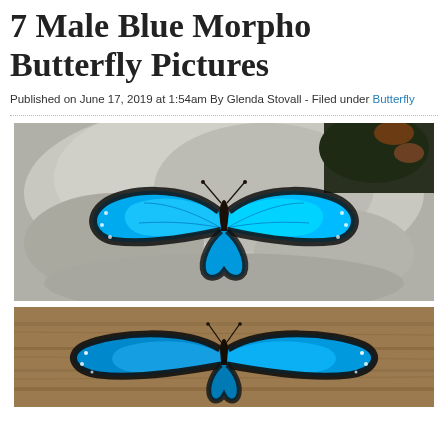7 Male Blue Morpho Butterfly Pictures
Published on June 17, 2019 at 1:54am By Glenda Stovall - Filed under Butterfly
[Figure (photo): A vivid blue Morpho butterfly with wings open resting on a gray rock, viewed from above. Bright iridescent blue wings with black edges and white spots.]
[Figure (photo): A blue Morpho butterfly with wings open resting on a wooden surface, viewed from above. Blue wings with black border and white spots visible.]